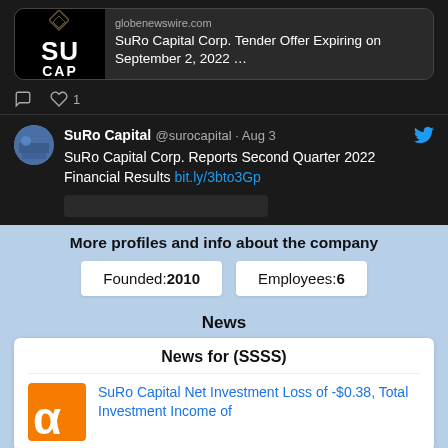[Figure (screenshot): Twitter/X post from SuRo Capital showing a link preview from globenewswire.com: 'SuRo Capital Corp. Tender Offer Expiring on September 2, 2022 ...' with SuRo Capital logo. Reaction icons show 1 like.]
[Figure (screenshot): Twitter/X post from SuRo Capital (@surocapital) dated Aug 3. Text: 'SuRo Capital Corp. Reports Second Quarter 2022 Financial Results bit.ly/3bto3Gp'. Blue Twitter bird icon visible.]
More profiles and info about the company
Founded:2010
Employees:6
News
News for (SSSS)
SuRo Capital Net Investment Loss of -$0.38, Total Investment Income of